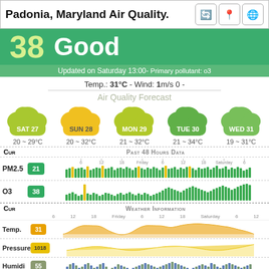Padonia, Maryland Air Quality.
38  Good
Updated on Saturday 13:00- Primary pollutant: o3
Temp.: 31°C - Wind: 1m/s 0 -
Air Quality Forecast
[Figure (infographic): 5-day air quality forecast clouds: SAT 27 (20~29°C), SUN 28 (20~32°C), MON 29 (21~32°C), TUE 30 (21~34°C), WED 31 (19~31°C)]
[Figure (bar-chart): Bar chart showing PM2.5 levels over past 48 hours, current value 21, mix of green and yellow bars]
[Figure (bar-chart): Bar chart showing O3 levels over past 48 hours, current value 38, mostly green bars with one yellow spike]
[Figure (area-chart): Area chart showing temperature over 48 hours, current 31, orange/yellow area chart]
[Figure (area-chart): Area chart showing pressure over 48 hours, current 1018, yellow area chart]
[Figure (bar-chart): Bar chart showing humidity over 48 hours, current 55, blue/gray bars]